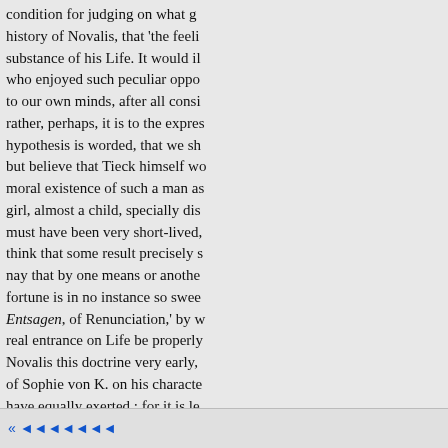condition for judging on what g history of Novalis, that 'the feeli substance of his Life. It would il who enjoyed such peculiar oppo to our own minds, after all consi rather, perhaps, it is to the expres hypothesis is worded, that we sh but believe that Tieck himself wo moral existence of such a man as girl, almost a child, specially dis must have been very short-lived, think that some result precisely s nay that by one means or anothe fortune is in no instance so swee Entsagen, of Renunciation,' by w real entrance on Life be properly Novalis this doctrine very early, of Sophie von K. on his characte have equally exerted : for it is le lesson ; nor do the purifying effe homeless, depend on the worth o can draw mild
« ◄◄◄◄◄◄◄